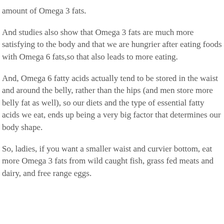amount of Omega 3 fats.
And studies also show that Omega 3 fats are much more satisfying to the body and that we are hungrier after eating foods with Omega 6 fats,so that also leads to more eating.
And, Omega 6 fatty acids actually tend to be stored in the waist and around the belly, rather than the hips (and men store more belly fat as well), so our diets and the type of essential fatty acids we eat, ends up being a very big factor that determines our body shape.
So, ladies, if you want a smaller waist and curvier bottom, eat more Omega 3 fats from wild caught fish, grass fed meats and dairy, and free range eggs.